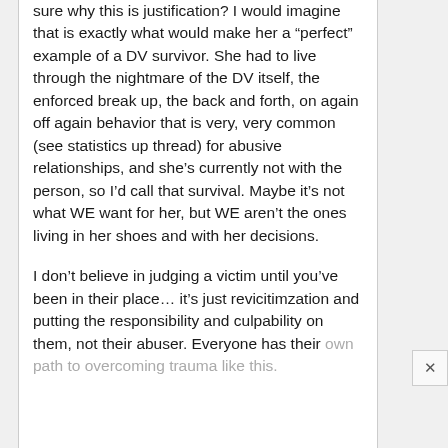sure why this is justification? I would imagine that is exactly what would make her a “perfect” example of a DV survivor. She had to live through the nightmare of the DV itself, the enforced break up, the back and forth, on again off again behavior that is very, very common (see statistics up thread) for abusive relationships, and she’s currently not with the person, so I’d call that survival. Maybe it’s not what WE want for her, but WE aren’t the ones living in her shoes and with her decisions.

I don’t believe in judging a victim until you’ve been in their place… it’s just revicitimzation and putting the responsibility and culpability on them, not their abuser. Everyone has their own path to overcoming trauma like this.